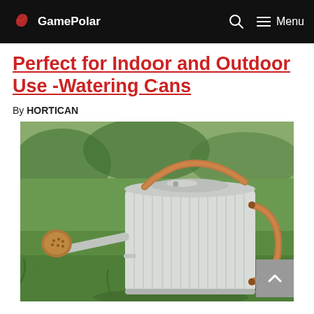GamePolar
Perfect for Indoor and Outdoor Use -Watering Cans
By HORTICAN
[Figure (photo): A metal watering can with copper/bronze handles and spout rose, sitting on green grass outdoors. The can is silver/grey with vertical ribbing and a lid.]